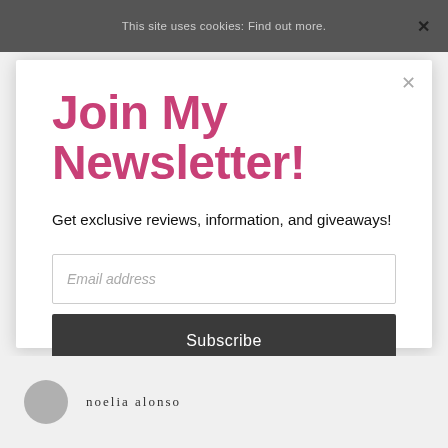This site uses cookies: Find out more. ×
Join My Newsletter!
Get exclusive reviews, information, and giveaways!
Email address
Subscribe
noelia alonso